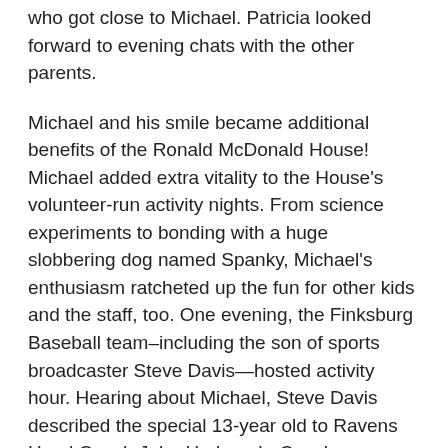who got close to Michael. Patricia looked forward to evening chats with the other parents.
Michael and his smile became additional benefits of the Ronald McDonald House!  Michael added extra vitality to the House's volunteer-run activity nights.  From science experiments to bonding with a huge slobbering dog named Spanky, Michael's enthusiasm ratcheted up the fun for other kids and the staff, too.  One evening, the Finksburg Baseball team–including the son of sports broadcaster Steve Davis—hosted activity hour.  Hearing about Michael, Steve Davis described the special 13-year old to Ravens Head Coach John Harbaugh.  Coach Harbaugh knew he just had to meet this kid.
So, to the thrill of the kids, parents and staffers John Harbaugh came for a visit! Imagine how big “The Michael” was that day.  In fact, doing “The Michael” was rampant on faces that day as the kind-hearted Harbaugh